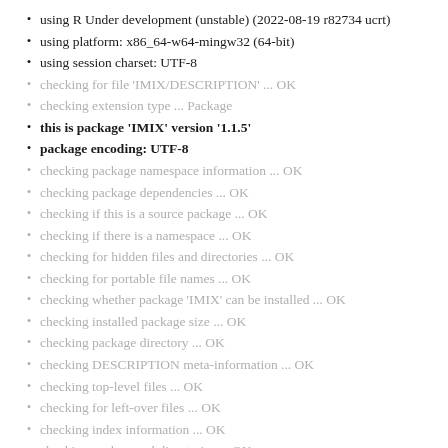using R Under development (unstable) (2022-08-19 r82734 ucrt)
using platform: x86_64-w64-mingw32 (64-bit)
using session charset: UTF-8
checking for file 'IMIX/DESCRIPTION' ... OK
checking extension type ... Package
this is package 'IMIX' version '1.1.5'
package encoding: UTF-8
checking package namespace information ... OK
checking package dependencies ... OK
checking if this is a source package ... OK
checking if there is a namespace ... OK
checking for hidden files and directories ... OK
checking for portable file names ... OK
checking whether package 'IMIX' can be installed ... OK
checking installed package size ... OK
checking package directory ... OK
checking DESCRIPTION meta-information ... OK
checking top-level files ... OK
checking for left-over files ... OK
checking index information ... OK
checking package subdirectories ... OK
checking R files for non-ASCII characters ... OK
checking R files for syntax errors ... OK